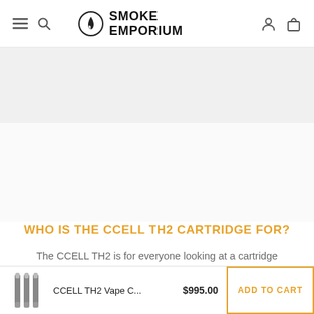SMOKE EMPORIUM
[Figure (other): Grey banner/image placeholder area]
WHO IS THE CCELL TH2 CARTRIDGE FOR?
The CCELL TH2 is for everyone looking at a cartridge solution. The screw in mouthpiece means anyone can prepare the cartridge for use immediately.
[Figure (other): Product thumbnail image of CCELL TH2 Vape cartridges]
CCELL TH2 Vape C...  $995.00  ADD TO CART